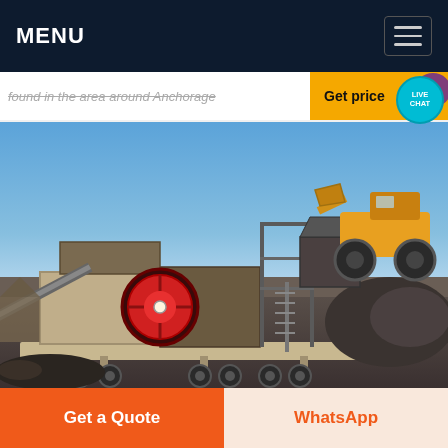MENU
found in the area around Anchorage
Get price
LIVE CHAT
[Figure (photo): Industrial mobile jaw crusher machine mounted on a trailer with a large red flywheel, scaffolding, and a yellow front loader on a rock pile in the background under a blue sky.]
Get a Quote
WhatsApp